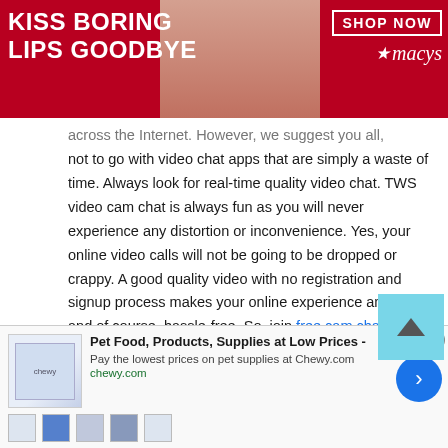[Figure (photo): Macy's advertisement banner showing a woman with red lipstick. Text reads 'KISS BORING LIPS GOODBYE' with 'SHOP NOW' button and Macy's star logo.]
across the Internet. However, we suggest you all, not to go with video chat apps that are simply a waste of time. Always look for real-time quality video chat. TWS video cam chat is always fun as you will never experience any distortion or inconvenience. Yes, your online video calls will not be going to be dropped or crappy. A good quality video with no registration and signup process makes your online experience amazing and of course, hassle-free. So, join free cam chat now!
Group chat
[Figure (screenshot): Bottom advertisement for Chewy.com: 'Pet Food, Products, Supplies at Low Prices - Pay the lowest prices on pet supplies at Chewy.com' with product images and a blue arrow button.]